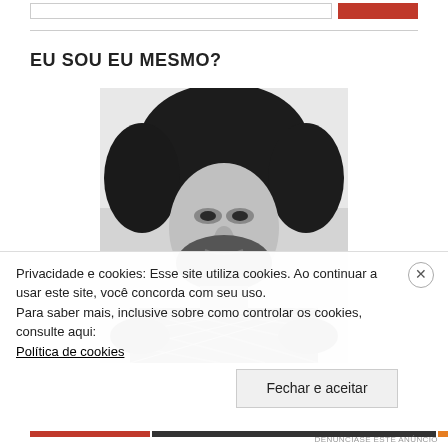EU SOU EU MESMO?
[Figure (photo): Black and white portrait photo of a man with long curly hair and a beard, wearing a houndstooth patterned jacket, looking directly at the camera with a serious expression.]
Privacidade e cookies: Esse site utiliza cookies. Ao continuar a usar este site, você concorda com seu uso.
Para saber mais, inclusive sobre como controlar os cookies, consulte aqui:
Política de cookies
Fechar e aceitar